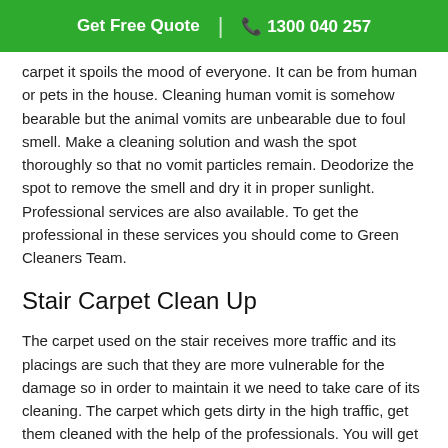Get Free Quote | 1300 040 257
carpet it spoils the mood of everyone. It can be from human or pets in the house. Cleaning human vomit is somehow bearable but the animal vomits are unbearable due to foul smell. Make a cleaning solution and wash the spot thoroughly so that no vomit particles remain. Deodorize the spot to remove the smell and dry it in proper sunlight. Professional services are also available. To get the professional in these services you should come to Green Cleaners Team.
Stair Carpet Clean Up
The carpet used on the stair receives more traffic and its placings are such that they are more vulnerable for the damage so in order to maintain it we need to take care of its cleaning. The carpet which gets dirty in the high traffic, get them cleaned with the help of the professionals. You will get the best professionals team for this service with Green Cleaners Team. The steps of the stair are irregular so you need to be careful.
Benefits of Carpet Cleaning Services West Leederville